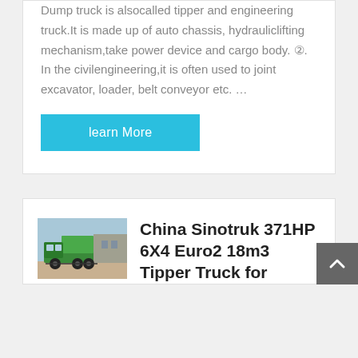Dump truck is alsocalled tipper and engineering truck.It is made up of auto chassis, hydrauliclifting mechanism,take power device and cargo body. ②. In the civilengineering,it is often used to joint excavator, loader, belt conveyor etc. …
learn More
[Figure (photo): Green Sinotruk dump truck parked in a yard with buildings in background]
China Sinotruk 371HP 6X4 Euro2 18m3 Tipper Truck for